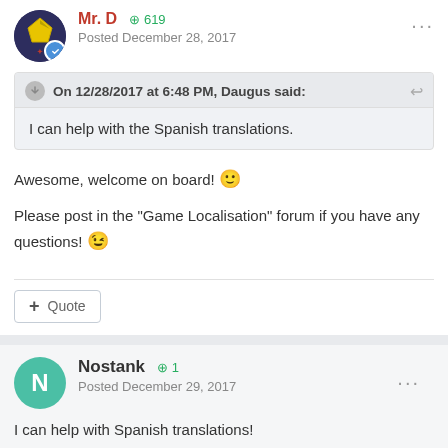Mr. D  +619  Posted December 28, 2017
On 12/28/2017 at 6:48 PM, Daugus said:
I can help with the Spanish translations.
Awesome, welcome on board! 🙂
Please post in the "Game Localisation" forum if you have any questions! 😉
+ Quote
Nostank  +1  Posted December 29, 2017
I can help with Spanish translations!